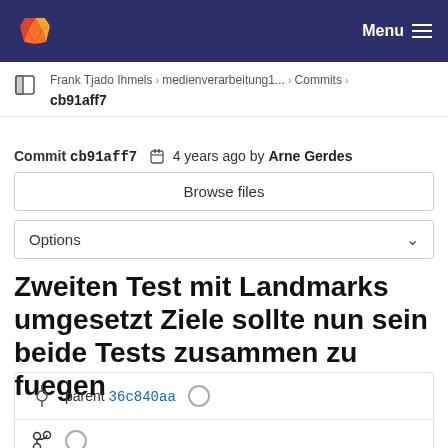GitLab navigation bar with logo and Menu
Frank Tjado Ihmels > medienverarbeitung1... > Commits > cb91aff7
Commit cb91aff7  4 years ago by Arne Gerdes
Browse files
Options
Zweiten Test mit Landmarks umgesetzt Ziele sollte nun sein beide Tests zusammen zu fuegen
parent 36c840aa